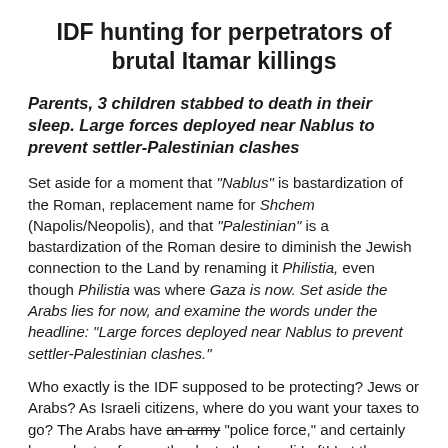IDF hunting for perpetrators of brutal Itamar killings
Parents, 3 children stabbed to death in their sleep. Large forces deployed near Nablus to prevent settler-Palestinian clashes
Set aside for a moment that "Nablus" is bastardization of the Roman, replacement name for Shchem (Napolis/Neopolis), and that "Palestinian" is a bastardization of the Roman desire to diminish the Jewish connection to the Land by renaming it Philistia, even though Philistia was where Gaza is now. Set aside the Arabs lies for now, and examine the words under the headline: "Large forces deployed near Nablus to prevent settler-Palestinian clashes."
Who exactly is the IDF supposed to be protecting? Jews or Arabs? As Israeli citizens, where do you want your taxes to go? The Arabs have an army "police force," and certainly have plenty of guns, thanks to the Israeli Left! Let them protect themselves!